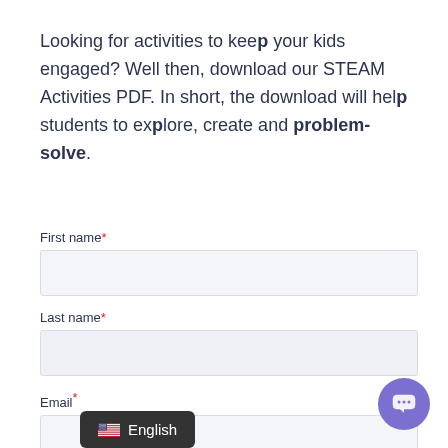Looking for activities to keep your kids engaged? Well then, download our STEAM Activities PDF. In short, the download will help students to explore, create and problem-solve.
First name*
Last name*
Email*